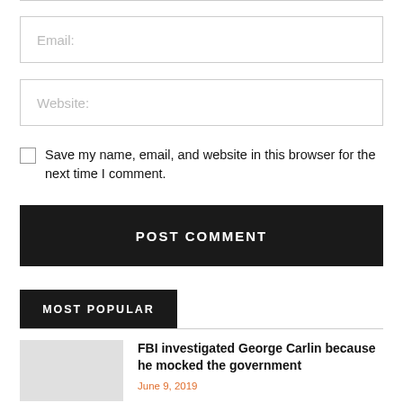Email:
Website:
Save my name, email, and website in this browser for the next time I comment.
POST COMMENT
MOST POPULAR
FBI investigated George Carlin because he mocked the government
June 9, 2019